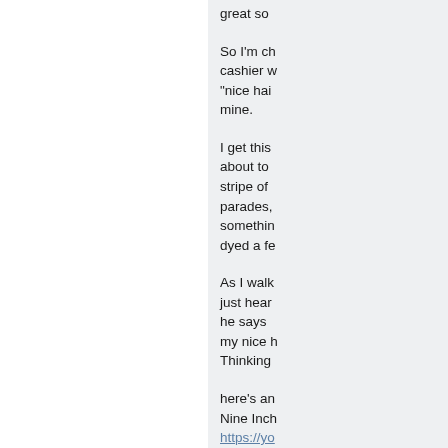great so
So I'm ch cashier w "nice hai mine.
I get this about to stripe of parades, somethin dyed a fe
As I walk just hear he says my nice h Thinking
here's an Nine Inch https://yo